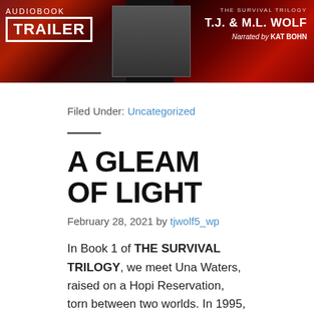[Figure (photo): Audiobook trailer banner image showing 'AUDIOBOOK TRAILER' text with a box around TRAILER, author names T.J. & M.L. WOLF, narrator KAT BOHN, against a dark background with crowd imagery and book cover.]
Filed Under: Uncategorized
A GLEAM OF LIGHT
February 28, 2021 by tjwolf5_wp
In Book 1 of THE SURVIVAL TRILOGY, we meet Una Waters, raised on a Hopi Reservation, torn between two worlds. In 1995, at the age of eight, she survives a